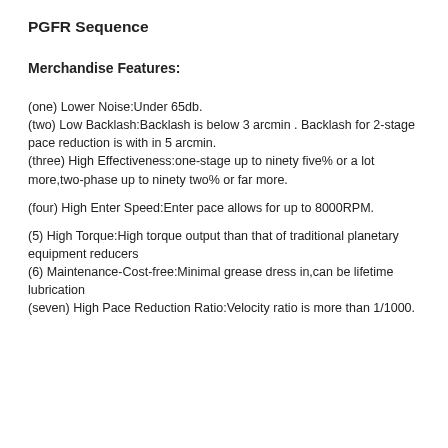PGFR Sequence
Merchandise Features:
(one) Lower Noise:Under 65db.
(two) Low Backlash:Backlash is below 3 arcmin . Backlash for 2-stage pace reduction is with in 5 arcmin.
(three) High Effectiveness:one-stage up to ninety five% or a lot more,two-phase up to ninety two% or far more.
(four) High Enter Speed:Enter pace allows for up to 8000RPM.
(5) High Torque:High torque output than that of traditional planetary equipment reducers
(6) Maintenance-Cost-free:Minimal grease dress in,can be lifetime lubrication
(seven) High Pace Reduction Ratio:Velocity ratio is more than 1/1000.